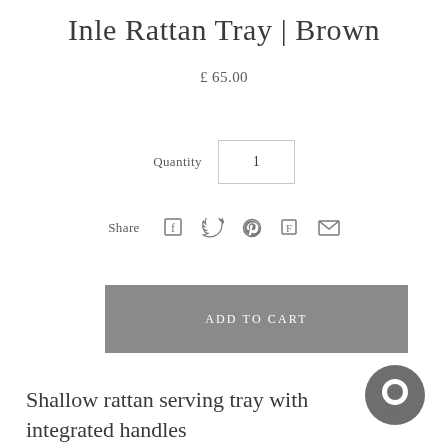Inle Rattan Tray | Brown
£ 65.00
Quantity  1
[Figure (infographic): Share icons: Facebook, Twitter, Pinterest, Fancy, Email]
ADD TO CART
Shallow rattan serving tray with integrated handles
[Figure (other): Chat bubble / messenger icon, dark grey circle]